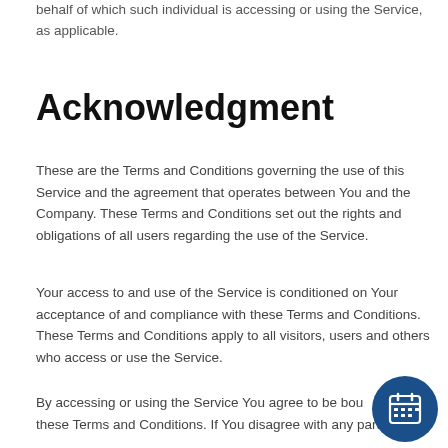behalf of which such individual is accessing or using the Service, as applicable.
Acknowledgment
These are the Terms and Conditions governing the use of this Service and the agreement that operates between You and the Company. These Terms and Conditions set out the rights and obligations of all users regarding the use of the Service.
Your access to and use of the Service is conditioned on Your acceptance of and compliance with these Terms and Conditions. These Terms and Conditions apply to all visitors, users and others who access or use the Service.
By accessing or using the Service You agree to be bound by these Terms and Conditions. If You disagree with any part of